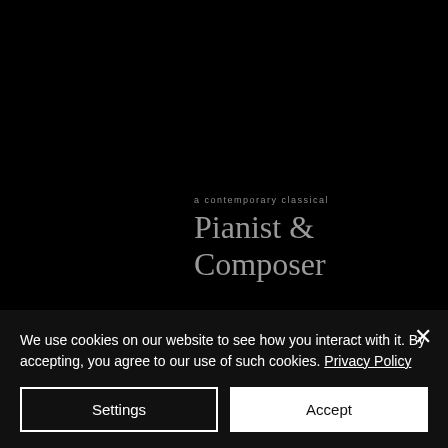[Figure (illustration): Dark background with centered script text reading 'a contemporary classical Pianist & Composer' in a cursive/handwritten style, silver-gray color on black]
We use cookies on our website to see how you interact with it. By accepting, you agree to our use of such cookies. Privacy Policy
Settings
Accept